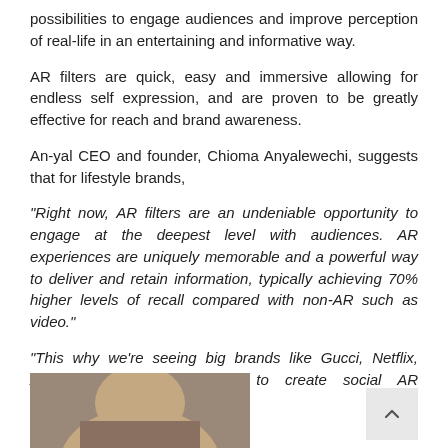possibilities to engage audiences and improve perception of real-life in an entertaining and informative way.
AR filters are quick, easy and immersive allowing for endless self expression, and are proven to be greatly effective for reach and brand awareness.
An-yal CEO and founder, Chioma Anyalewechi, suggests that for lifestyle brands,
“Right now, AR filters are an undeniable opportunity to engage at the deepest level with audiences. AR experiences are uniquely memorable and a powerful way to deliver and retain information, typically achieving 70% higher levels of recall compared with non-AR such as video.”
“This why we’re seeing big brands like Gucci, Netflix, Adidas and H&M continue to create social AR experiences.”
[Figure (photo): Bottom portion of a person's face/head photo, partially visible at the bottom of the page]